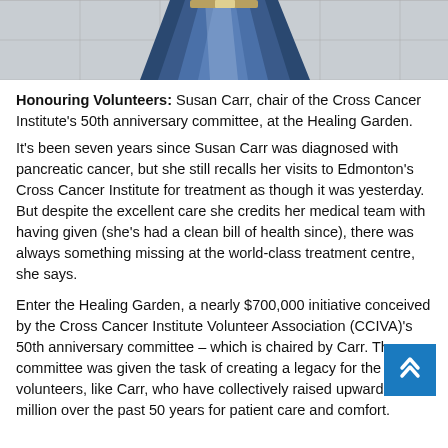[Figure (photo): Partial photo of a decorative metallic/blue conical object at the Healing Garden, Cross Cancer Institute. Only the bottom portion of the object is visible against a tiled floor background.]
Honouring Volunteers: Susan Carr, chair of the Cross Cancer Institute's 50th anniversary committee, at the Healing Garden.
It's been seven years since Susan Carr was diagnosed with pancreatic cancer, but she still recalls her visits to Edmonton's Cross Cancer Institute for treatment as though it was yesterday. But despite the excellent care she credits her medical team with having given (she's had a clean bill of health since), there was always something missing at the world-class treatment centre, she says.
Enter the Healing Garden, a nearly $700,000 initiative conceived by the Cross Cancer Institute Volunteer Association (CCIVA)'s 50th anniversary committee – which is chaired by Carr. The committee was given the task of creating a legacy for the volunteers, like Carr, who have collectively raised upwards of a million over the past 50 years for patient care and comfort.